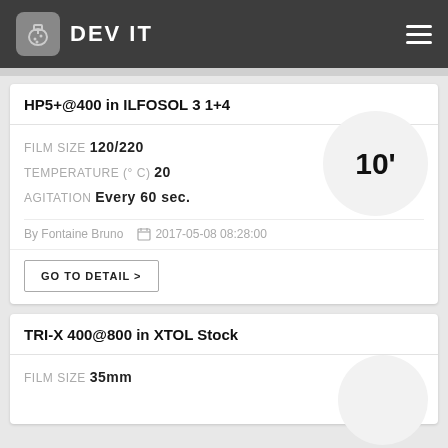DEV IT
HP5+@400 in ILFOSOL 3 1+4
FILM SIZE 120/220
TEMPERATURE (° C) 20
AGITATION Every 60 sec.
10'
By Fontaine Bruno   2017-05-08 08:28:00
GO TO DETAIL >
TRI-X 400@800 in XTOL Stock
FILM SIZE 35mm